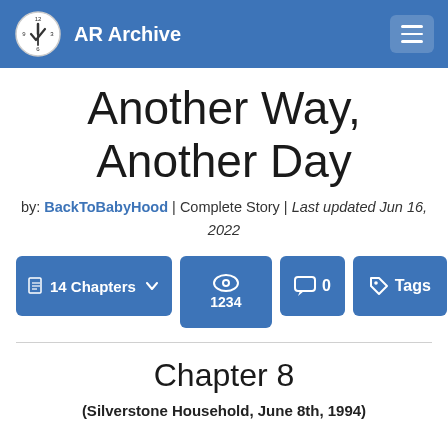AR Archive
Another Way, Another Day
by: BackToBabyHood | Complete Story | Last updated Jun 16, 2022
14 Chapters  |  1234 views  |  0 comments  |  Tags
Chapter 8
(Silverstone Household, June 8th, 1994)